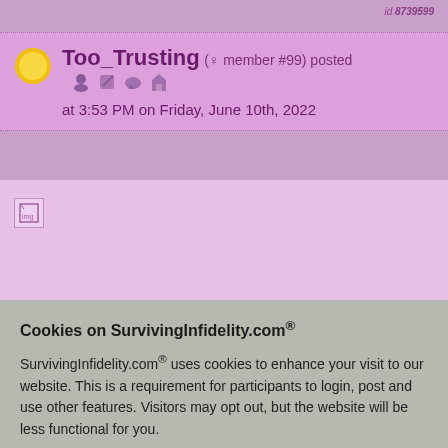id 8739599
Too_Trusting (9 member #99) posted at 3:53 PM on Friday, June 10th, 2022
[Figure (photo): Broken image placeholder in post body]
ng easy has its one loved can be
2
id 8739600
sted
Policy
Cookies on SurvivingInfidelity.com® SurvivingInfidelity.com® uses cookies to enhance your visit to our website. This is a requirement for participants to login, post and use other features. Visitors may opt out, but the website will be less functional for you.
accept